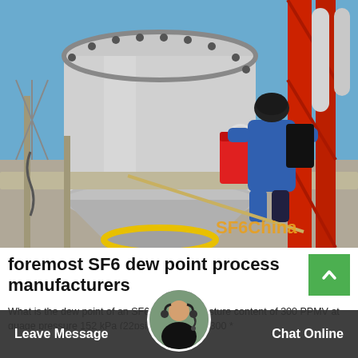[Figure (photo): Industrial site photo showing a worker in blue coveralls climbing scaffolding next to a large cylindrical gray tank/vessel with bolted flanges. A red bucket is visible on the platform. Red structural steel framework is on the right side. Equipment and electrical infrastructure visible in background. SF6China watermark in orange text at bottom right.]
foremost SF6 dew point process manufacturers
What is the dew point of an SF6 having a moisture content of 300 PPMV at guage pressure 152 kPa (22psig) Pressure = 300 *